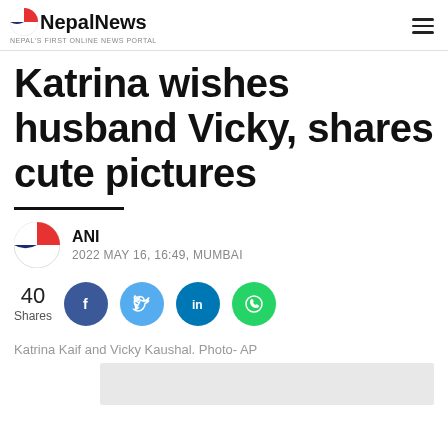NepālNews — NEPAL'S FIRST ONLINE NEWS PORTAL
Katrina wishes husband Vicky, shares cute pictures
ANI
2022 MAY 16, 16:49, MUMBAI
40 Shares
Katrina Kaif and Vicky Kaushal. Photo- AP